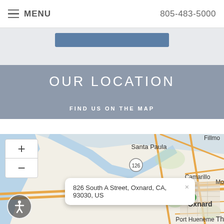MENU   805-483-5000
[Figure (screenshot): Blue button in light gray band]
OUR LOCATION
FIND US ON THE MAP
[Figure (map): Google Maps view showing Oxnard, CA area with Santa Paula, Camarillo, Port Hueneme visible. Address popup: 826 South A Street, Oxnard, CA, 93030, US. Map controls include zoom in (+) and zoom out (-) buttons and accessibility icon.]